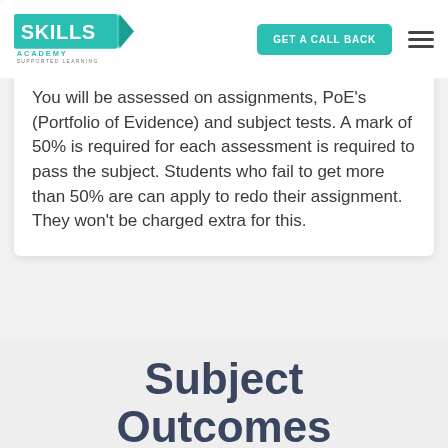Skills Academy – Supported Learning | GET A CALL BACK
You will be assessed on assignments, PoE's (Portfolio of Evidence) and subject tests. A mark of 50% is required for each assessment is required to pass the subject. Students who fail to get more than 50% are can apply to redo their assignment. They won't be charged extra for this.
Subject Outcomes